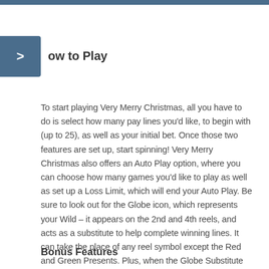How to Play
To start playing Very Merry Christmas, all you have to do is select how many pay lines you'd like, to begin with (up to 25), as well as your initial bet. Once those two features are set up, start spinning! Very Merry Christmas also offers an Auto Play option, where you can choose how many games you'd like to play as well as set up a Loss Limit, which will end your Auto Play. Be sure to look out for the Globe icon, which represents your Wild – it appears on the 2nd and 4th reels, and acts as a substitute to help complete winning lines. It can take the place of any reel symbol except the Red and Green Presents. Plus, when the Globe Substitute appears on a winning line, your prize will be DOUBLED!
Bonus Features